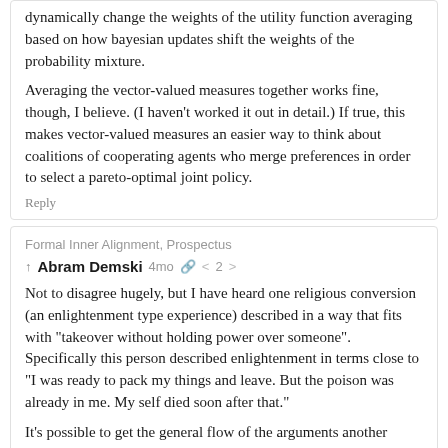dynamically change the weights of the utility function averaging based on how bayesian updates shift the weights of the probability mixture.
Averaging the vector-valued measures together works fine, though, I believe. (I haven’t worked it out in detail.) If true, this makes vector-valued measures an easier way to think about coalitions of cooperating agents who merge preferences in order to select a pareto-optimal joint policy.
Reply
Formal Inner Alignment, Prospectus
Abram Demski 4mo < 2 >
Not to disagree hugely, but I have heard one religious conversion (an enlightenment type experience) described in a way that fits with “takeover without holding power over someone”. Specifically this person described enlightenment in terms close to “I was ready to pack my things and leave. But the poison was already in me. My self died soon after that.”
It’s possible to get the general flow of the arguments another person would make, spontaneously produce those arguments later, and be convinced by them (or at least influenced).
Reply